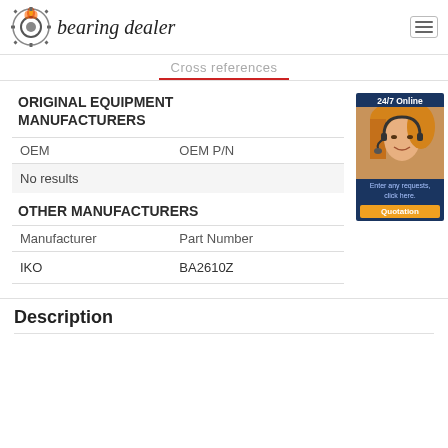bearing dealer
Cross references
ORIGINAL EQUIPMENT MANUFACTURERS
| OEM | OEM P/N |
| --- | --- |
| No results |  |
OTHER MANUFACTURERS
| Manufacturer | Part Number |
| --- | --- |
| IKO | BA2610Z |
Description